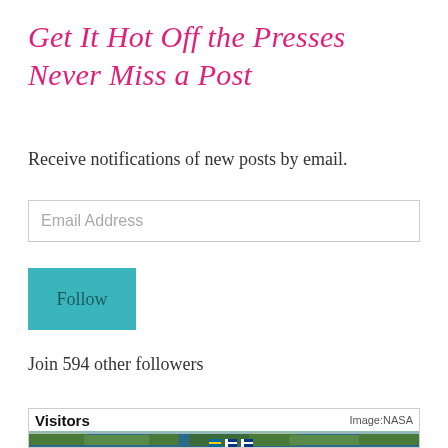Get It Hot Off the Presses Never Miss a Post
Receive notifications of new posts by email.
Email Address
Follow
Join 594 other followers
[Figure (map): Visitors world map widget with flags. Header shows 'Visitors' and 'Image:NASA' credit. Globe map image visible at bottom with small flags (Swedish and Finnish flags visible).]